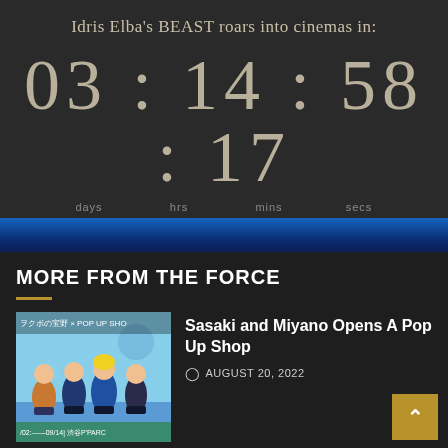Idris Elba's BEAST roars into cinemas in:
03 : 14 : 58 : 17
days   hrs   mins   secs
MORE FROM THE FORCE
[Figure (illustration): Anime-style illustration for Sasaki and Miyano Pop Up Shop — shows anime characters (young men) seated, with Japanese text and POP UP SHOP text. Event dates 02—09/14 at Shibuya P'PARCO.]
Sasaki and Miyano Opens A Pop Up Shop
AUGUST 20, 2022